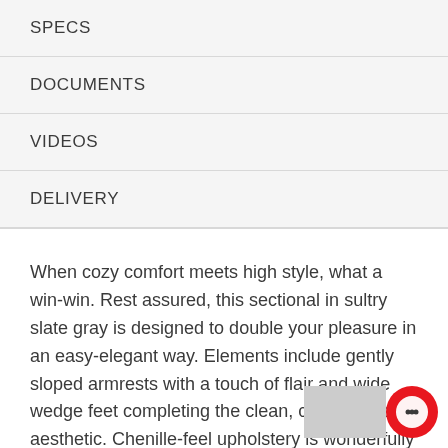SPECS
DOCUMENTS
VIDEOS
DELIVERY
When cozy comfort meets high style, what a win-win. Rest assured, this sectional in sultry slate gray is designed to double your pleasure in an easy-elegant way. Elements include gently sloped armrests with a touch of flair and wide wedge feet completing the clean, contemporary aesthetic. Chenille-feel upholstery is wonderfully plush to the touch.